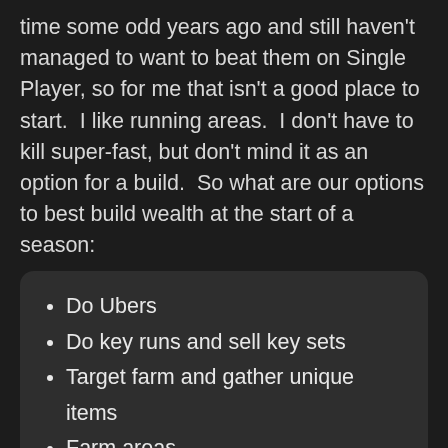time some odd years ago and still haven't managed to want to beat them on Single Player, so for me that isn't a good place to start.  I like running areas.  I don't have to kill super-fast, but don't mind it as an option for a build.  So what are our options to best build wealth at the start of a season:
Do Ubers
Do key runs and sell key sets
Target farm and gather unique items
Farm areas.
Some of these are combined, Key runs are good to farm a couple of areas as well with solid drops too.  Target farming was the OG